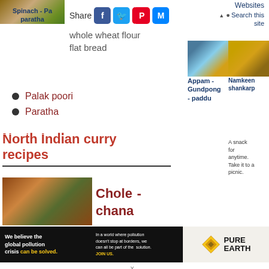[Figure (photo): Food photo of spinach paratha at top left]
Spinach - Pa paratha
Share
whole wheat flour flat bread
Palak poori
Paratha
North Indian curry recipes
[Figure (photo): Photo of Chole chana curry dish]
Chole - chana
Websites
Search this site
[Figure (photo): Sidebar photo of Appam Gundpong paddu]
[Figure (photo): Sidebar photo of Namkeen shankarpali]
Appam - Gundpong - paddu
Namkeen shankarp
A snack for anytime. Take it to a picnic.
We believe the global pollution crisis can be solved. In a world where pollution doesn't stop at borders, we can all be part of the solution. JOIN US.
[Figure (logo): Pure Earth logo with diamond shape]